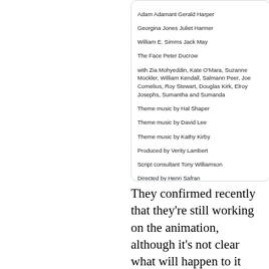[Figure (screenshot): Screenshot of a tweet showing cast/crew credits for a BBC production and tweet metadata: timestamp 5:07 PM Oct 24, 2017, 15 likes, Reply, Copy buttons, and Explore what's happening button.]
They confirmed recently that they're still working on the animation, although it's not clear what will happen to it once it's finished (it might be made commercially available